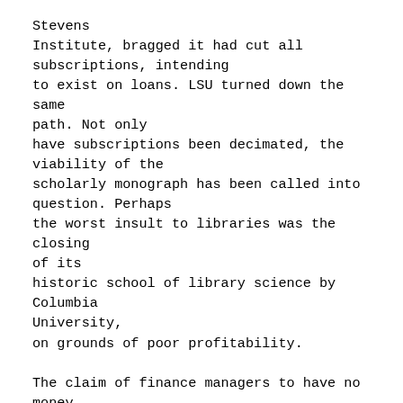Stevens
Institute, bragged it had cut all subscriptions, intending
to exist on loans. LSU turned down the same path. Not only
have subscriptions been decimated, the viability of the
scholarly monograph has been called into question. Perhaps
the worst insult to libraries was the closing of its
historic school of library science by Columbia University,
on grounds of poor profitability.

The claim of finance managers to have no money is simply
bogus in very many cases. As a matter of public record,
the profitability of all higher education institutions
is available by the government.